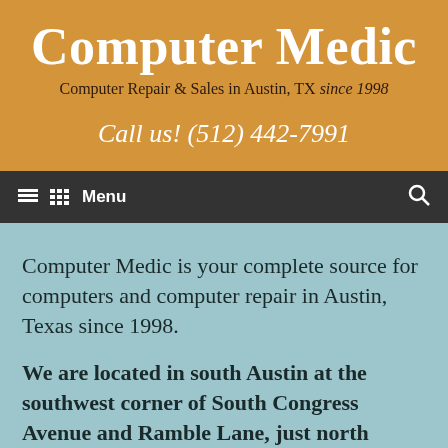Computer Medic
Computer Repair & Sales in Austin, TX since 1998
Call us! (512) 442-7991
☰  Menu
Computer Medic is your complete source for computers and computer repair in Austin, Texas since 1998.
We are located in south Austin at the southwest corner of South Congress Avenue and Ramble Lane, just north